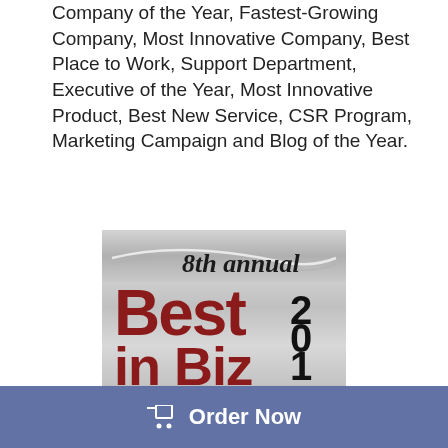Company of the Year, Fastest-Growing Company, Most Innovative Company, Best Place to Work, Support Department, Executive of the Year, Most Innovative Product, Best New Service, CSR Program, Marketing Campaign and Blog of the Year.
[Figure (logo): 8th Annual Best in Biz Awards 2018 Winner logo — silver banner with script '8th annual' text, large dark red 'Best in Biz' text with black '2018' digits, and a silver 'WINNER' banner at bottom.]
Order Now